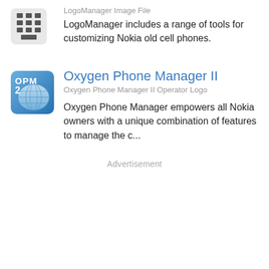[Figure (logo): Grid/phone icon for LogoManager]
LogoManager Image File
LogoManager includes a range of tools for customizing Nokia old cell phones.
[Figure (logo): OPM 2 icon for Oxygen Phone Manager II]
Oxygen Phone Manager II
Oxygen Phone Manager II Operator Logo
Oxygen Phone Manager empowers all Nokia owners with a unique combination of features to manage the c...
Advertisement